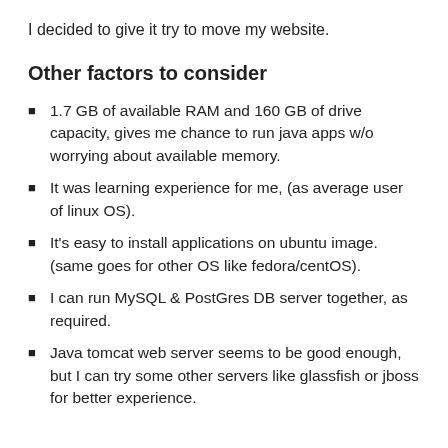I decided to give it try to move my website.
Other factors to consider
1.7 GB of available RAM and 160 GB of drive capacity, gives me chance to run java apps w/o worrying about available memory.
It was learning experience for me, (as average user of linux OS).
It's easy to install applications on ubuntu image. (same goes for other OS like fedora/centOS).
I can run MySQL & PostGres DB server together, as required.
Java tomcat web server seems to be good enough, but I can try some other servers like glassfish or jboss for better experience.